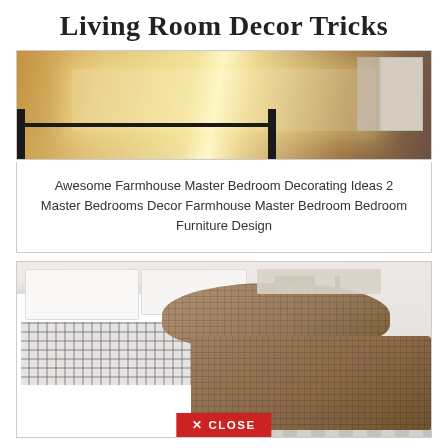Living Room Decor Tricks
[Figure (photo): Farmhouse bedroom with iron bed frame and dresser, top-lit mattress]
Awesome Farmhouse Master Bedroom Decorating Ideas 2 Master Bedrooms Decor Farmhouse Master Bedroom Bedroom Furniture Design
[Figure (photo): White farmhouse bed with buffalo check plaid throw blanket, wicker baskets and wooden stool in background, striped floor]
✕ CLOSE